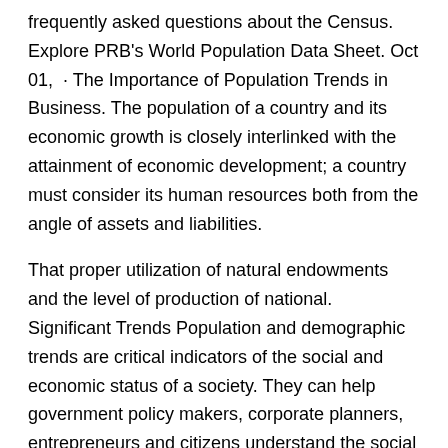frequently asked questions about the Census. Explore PRB's World Population Data Sheet. Oct 01, · The Importance of Population Trends in Business. The population of a country and its economic growth is closely interlinked with the attainment of economic development; a country must consider its human resources both from the angle of assets and liabilities.
That proper utilization of natural endowments and the level of production of national. Significant Trends Population and demographic trends are critical indicators of the social and economic status of a society. They can help government policy makers, corporate planners, entrepreneurs and citizens understand the social and economic contexts of our public and private institutions.
The. Vital Statistics tables of Michigan Population Estimates, produced by Michigan's Division for Vital Records and Health Statistics. Population trends can be viewed. U.S. Population Projections: By Jeffrey S.
Passel and D'Vera Cohn. Executive Summary. If current trends continue, the population of the United States will rise to million infrom